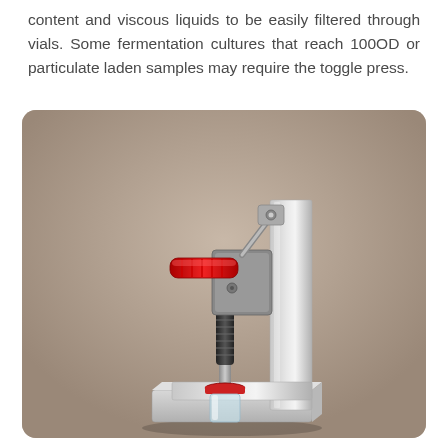content and viscous liquids to be easily filtered through vials. Some fermentation cultures that reach 100OD or particulate laden samples may require the toggle press.
[Figure (photo): Photograph of a toggle press device — a metal (aluminum/steel) bench-top press with an L-shaped bracket, a vertical plunger with a black grip section, a red textured handle on the toggle clamp mechanism at the top, and a sample vial/filter positioned at the base on a metal platform.]